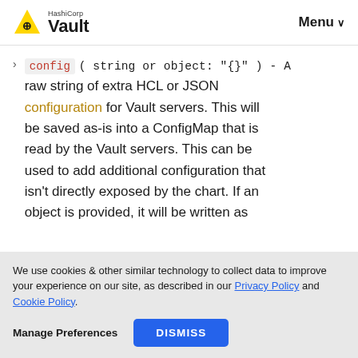HashiCorp Vault — Menu
config ( string or object: "{}" ) - A raw string of extra HCL or JSON configuration for Vault servers. This will be saved as-is into a ConfigMap that is read by the Vault servers. This can be used to add additional configuration that isn't directly exposed by the chart. If an object is provided, it will be written as
We use cookies & other similar technology to collect data to improve your experience on our site, as described in our Privacy Policy and Cookie Policy.
Manage Preferences   DISMISS